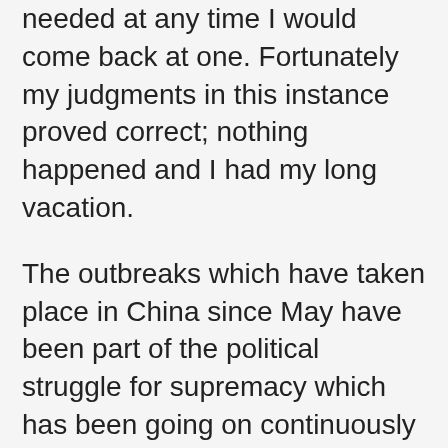needed at any time I would come back at one. Fortunately my judgments in this instance proved correct; nothing happened and I had my long vacation.
The outbreaks which have taken place in China since May have been part of the political struggle for supremacy which has been going on continuously since Sun Yat-sen set himself up against President Yüan Shih-k'ai. After the death of Sun Yat-sen last March, a large portion of Kuomintang Party adopted his communistic ideas. In this action they were strongly supported by the Soviet Ambassador Karakhan and by the agents of the Third International and Proradit Communist